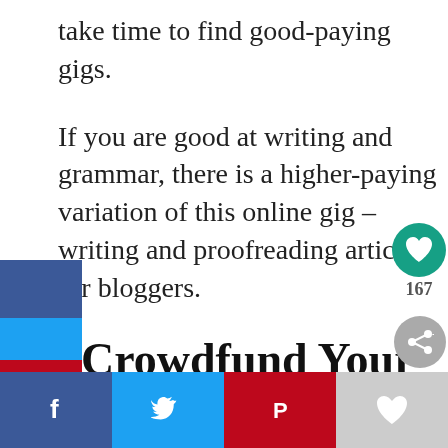take time to find good-paying gigs.
If you are good at writing and grammar, there is a higher-paying variation of this online gig – writing and proofreading articles for bloggers.
. Crowdfund Your Idea
can be anything from starting an urban organic community farm to writing a book on how to build tiny house. Post the description of your project with some pictures and videos and ask people f donations promising to send them a copy of the
[Figure (infographic): Social media share sidebar on the left with Facebook (dark blue), Twitter (light blue), Pinterest (red), WhatsApp (green), and teal sections. Bottom share bar with Facebook, Twitter, Pinterest, and heart icons. Floating teal heart circle with 167 count and share circle.]